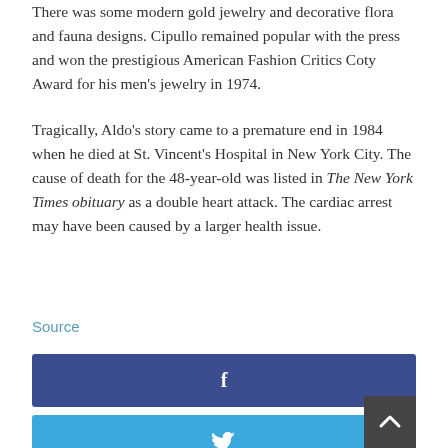There was some modern gold jewelry and decorative flora and fauna designs. Cipullo remained popular with the press and won the prestigious American Fashion Critics Coty Award for his men's jewelry in 1974.
Tragically, Aldo's story came to a premature end in 1984 when he died at St. Vincent's Hospital in New York City. The cause of death for the 48-year-old was listed in The New York Times obituary as a double heart attack. The cardiac arrest may have been caused by a larger health issue.
Source
[Figure (other): Facebook share button (dark blue with f icon)]
[Figure (other): Twitter share button (light blue with bird icon)]
[Figure (other): Google+ share button (red-orange with G+ icon)]
[Figure (other): Pinterest share button (red with P icon)]